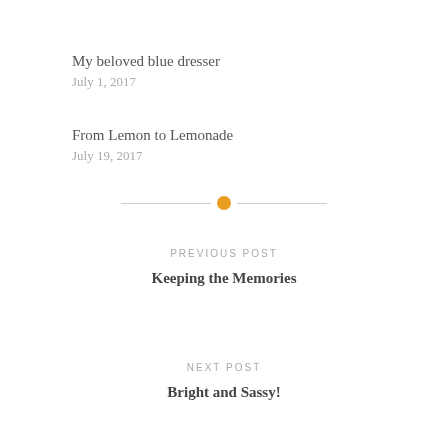My beloved blue dresser
July 1, 2017
From Lemon to Lemonade
July 19, 2017
[Figure (other): Horizontal divider with a gold/yellow circle in the center and thin gray lines on either side]
PREVIOUS POST
Keeping the Memories
NEXT POST
Bright and Sassy!